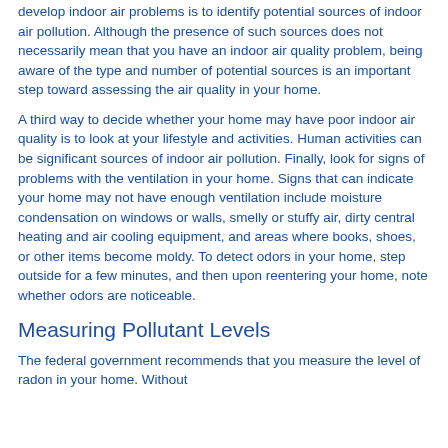develop indoor air problems is to identify potential sources of indoor air pollution. Although the presence of such sources does not necessarily mean that you have an indoor air quality problem, being aware of the type and number of potential sources is an important step toward assessing the air quality in your home.
A third way to decide whether your home may have poor indoor air quality is to look at your lifestyle and activities. Human activities can be significant sources of indoor air pollution. Finally, look for signs of problems with the ventilation in your home. Signs that can indicate your home may not have enough ventilation include moisture condensation on windows or walls, smelly or stuffy air, dirty central heating and air cooling equipment, and areas where books, shoes, or other items become moldy. To detect odors in your home, step outside for a few minutes, and then upon reentering your home, note whether odors are noticeable.
Measuring Pollutant Levels
The federal government recommends that you measure the level of radon in your home. Without